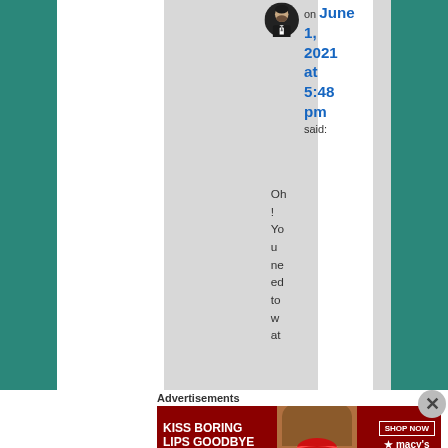[Figure (photo): Small circular avatar photo of a man in a suit with a beard, dark background]
on June 1, 2021 at 5:48 pm said:
Oh ! You need to wat
Advertisements
[Figure (photo): Red Macy's advertisement banner reading KISS BORING LIPS GOODBYE with SHOP NOW button and Macy's star logo, featuring a photo of a woman]
[Figure (other): Close (X) button circle on right side]